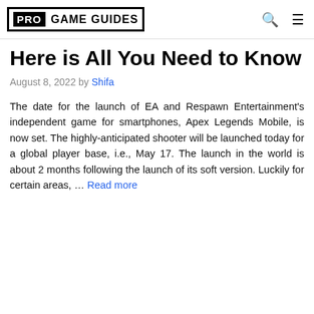PRO GAME GUIDES
Here is All You Need to Know
August 8, 2022 by Shifa
The date for the launch of EA and Respawn Entertainment's independent game for smartphones, Apex Legends Mobile, is now set. The highly-anticipated shooter will be launched today for a global player base, i.e., May 17. The launch in the world is about 2 months following the launch of its soft version. Luckily for certain areas, … Read more